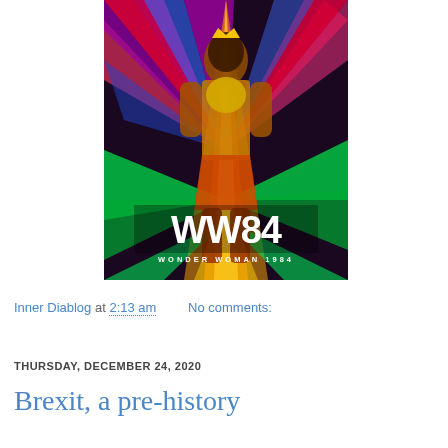[Figure (photo): Movie poster for WW84 (Wonder Woman 1984) showing Wonder Woman in golden armor against a colorful rainbow background with the text 'WW84' and 'WONDER WOMAN 1984' at the bottom.]
Inner Diablog at 2:13 am    No comments:
THURSDAY, DECEMBER 24, 2020
Brexit, a pre-history